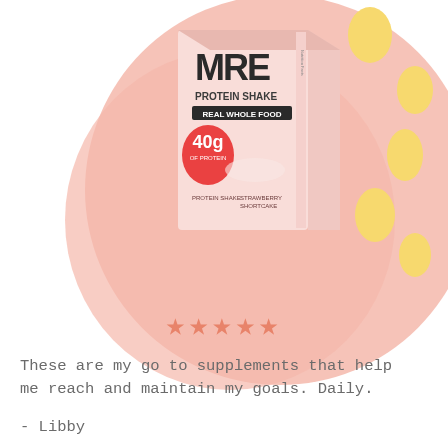[Figure (photo): MRE Protein Shake product box (Strawberry Shortcake flavor, 40g of protein, Real Whole Food) displayed on a pink blob background with yellow accent dots]
★★★★★
These are my go to supplements that help me reach and maintain my goals. Daily.
- Libby